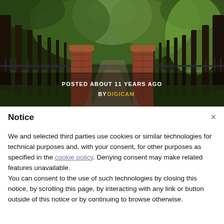[Figure (photo): A tree-lined driveway or path viewed from behind ornate brick gate pillars with iron fencing on both sides. The trees form a canopy overhead with green foliage visible. Text overlay reads 'POSTED ABOUT 11 YEARS AGO BY DIGICAM'.]
Notice
We and selected third parties use cookies or similar technologies for technical purposes and, with your consent, for other purposes as specified in the cookie policy. Denying consent may make related features unavailable.
You can consent to the use of such technologies by closing this notice, by scrolling this page, by interacting with any link or button outside of this notice or by continuing to browse otherwise.